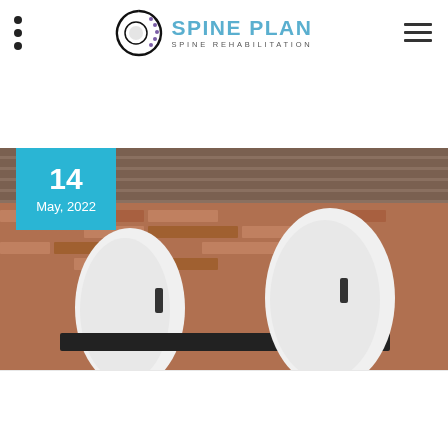[Figure (logo): Spine Plan logo with circular spine icon and text 'SPINE PLAN / SPINE REHABILITATION']
[Figure (photo): Blog post header image showing a car with open doors/mirrors against a brick wall background, with a teal date badge reading '14 May, 2022' overlaid on top-left]
14
May, 2022